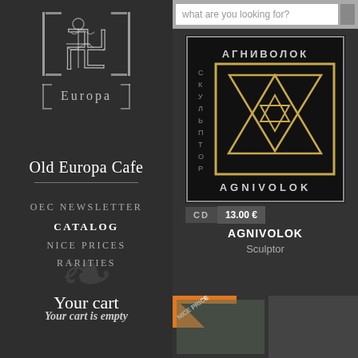[Figure (screenshot): Website screenshot of Old Europa Cafe online music store showing left sidebar navigation and right product listing area]
[Figure (logo): Old Europa Cafe logo with stylized text art]
Old Europa Cafe
OEC NEWSLETTER
CATALOG
NICE PRICES
RARITIES
Your cart
Your cart is empty
what are you looking for?
[Figure (photo): AGNIVOLOK - Sculptor album cover: black background with gold geometric symbol (interlocking triangles and hexagram), Russian text АГНИВОЛОК СКУЛЬПТОР around edges, AGNIVOLOK text at bottom]
CD   13.00 €
AGNIVOLOK
Sculptor